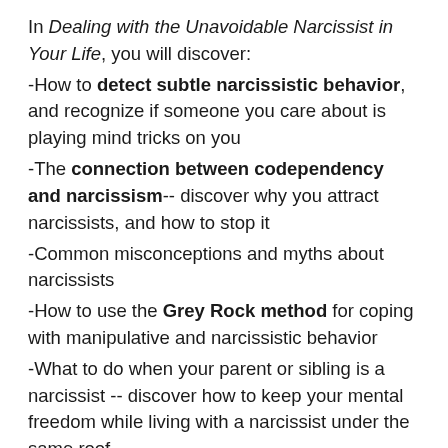In Dealing with the Unavoidable Narcissist in Your Life, you will discover:
-How to detect subtle narcissistic behavior, and recognize if someone you care about is playing mind tricks on you
-The connection between codependency and narcissism-- discover why you attract narcissists, and how to stop it
-Common misconceptions and myths about narcissists
-How to use the Grey Rock method for coping with manipulative and narcissistic behavior
-What to do when your parent or sibling is a narcissist -- discover how to keep your mental freedom while living with a narcissist under the same roof
-Techniques and strategies for dealing with a